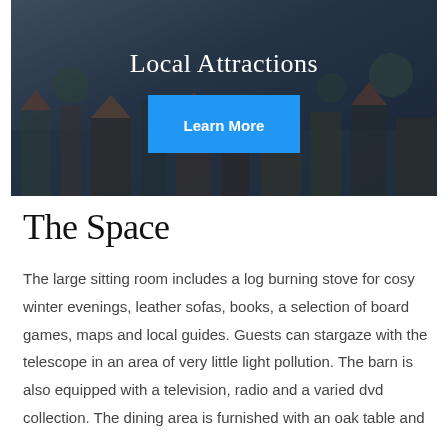[Figure (photo): Aerial or overhead view of a town or village with buildings and rooftops, overlaid with a dark semi-transparent overlay. Contains a 'Local Attractions' heading and a blue 'Learn More' button.]
The Space
The large sitting room includes a log burning stove for cosy winter evenings, leather sofas, books, a selection of board games, maps and local guides. Guests can stargaze with the telescope in an area of very little light pollution. The barn is also equipped with a television, radio and a varied dvd collection. The dining area is furnished with an oak table and